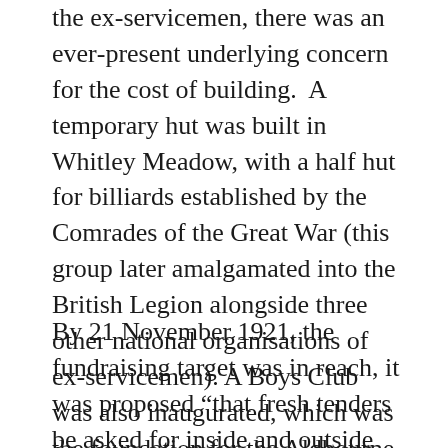the ex-servicemen, there was an ever-present underlying concern for the cost of building. A temporary hut was built in Whitley Meadow, with a half hut for billiards established by the Comrades of the Great War (this group later amalgamated into the British Legion alongside three other national organisations of ex-servicemen). A Boys Club was also inaugurated, which was the foundation for the Aldbourne Sports & Social Club we have today.
By 21 November 1921, the fundraising target was in reach, it was proposed “that fresh tenders be asked for inside and outside the village to build the Hall. With local labour to be employed as much as possible and the lowest tender be accepted in or out of the village